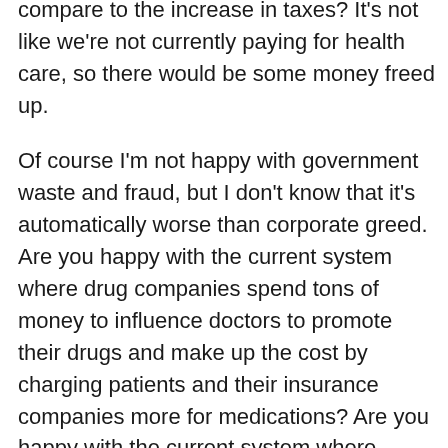expenses? How does that number compare to the increase in taxes? It's not like we're not currently paying for health care, so there would be some money freed up.
Of course I'm not happy with government waste and fraud, but I don't know that it's automatically worse than corporate greed. Are you happy with the current system where drug companies spend tons of money to influence doctors to promote their drugs and make up the cost by charging patients and their insurance companies more for medications? Are you happy with the current system where insurance companies find reasons to deny coverage for various conditions while raising premiums in order to make a profit because drug costs are going up? Are you